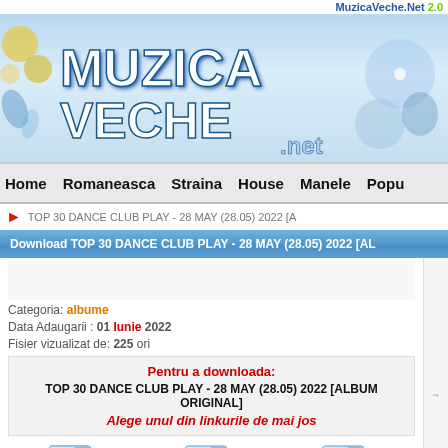MuzicaVeche.Net 2.0
[Figure (logo): MuzicaVeche.net website logo banner with stylized text on blue background]
Home  Romaneasca  Straina  House  Manele  Popu
TOP 30 DANCE CLUB PLAY - 28 MAY (28.05) 2022 [A
Download TOP 30 DANCE CLUB PLAY - 28 MAY (28.05) 2022 [AL
Categoria: albume
Data Adaugarii : 01 Iunie 2022
Fisier vizualizat de: 225 ori
Pentru a downloada:
TOP 30 DANCE CLUB PLAY - 28 MAY (28.05) 2022 [ALBUM ORIGINAL]
Alege unul din linkurile de mai jos
[Figure (other): Download link icons for bit-shares.com, sharebit-upload.com, bit-shares.com]
bit-shares.com
sharebit-upload.com
bit-shares.com